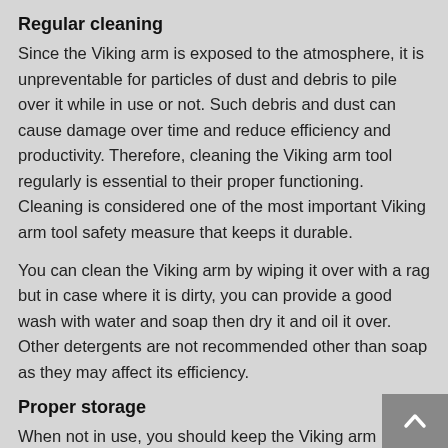Regular cleaning
Since the Viking arm is exposed to the atmosphere, it is unpreventable for particles of dust and debris to pile over it while in use or not. Such debris and dust can cause damage over time and reduce efficiency and productivity. Therefore, cleaning the Viking arm tool regularly is essential to their proper functioning. Cleaning is considered one of the most important Viking arm tool safety measure that keeps it durable.
You can clean the Viking arm by wiping it over with a rag but in case where it is dirty, you can provide a good wash with water and soap then dry it and oil it over. Other detergents are not recommended other than soap as they may affect its efficiency.
Proper storage
When not in use, you should keep the Viking arm in a dry area, free and safe from moisture and dust reach.
Lubrication
This is one of the fundamental habits you should put in pl...